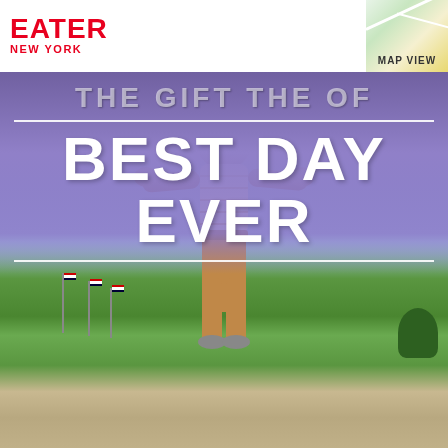EATER NEW YORK | MAP VIEW
[Figure (photo): A young Black child with braided hair, arms outstretched joyfully, wearing a white striped shirt and tan pants, running on a path in a park with green grass, blue sky with clouds, and American flags in the background. Large white bold text overlay reads 'BEST DAY EVER' on a purple gradient banner.]